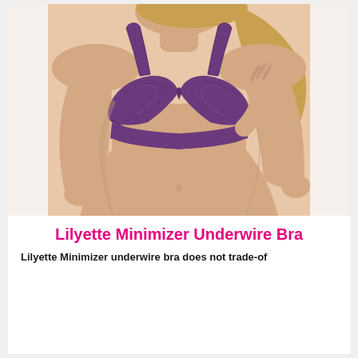[Figure (photo): A woman modeling a purple Lilyette Minimizer Underwire Bra against a white background. The photo is cropped from shoulders to waist, showing the bra in detail.]
Lilyette Minimizer Underwire Bra
Lilyette Minimizer underwire bra does not trade-of